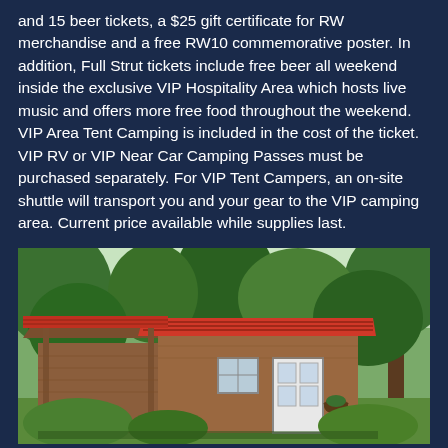and 15 beer tickets, a $25 gift certificate for RW merchandise and a free RW10 commemorative poster. In addition, Full Strut tickets include free beer all weekend inside the exclusive VIP Hospitality Area which hosts live music and offers more free food throughout the weekend. VIP Area Tent Camping is included in the cost of the ticket. VIP RV or VIP Near Car Camping Passes must be purchased separately. For VIP Tent Campers, an on-site shuttle will transport you and your gear to the VIP camping area. Current price available while supplies last.
[Figure (photo): Outdoor photo of a small wooden cabin or shed with a red metal roof, white door with window panels, a covered porch area on the left side, surrounded by tall green trees. Lush green forest background with bright sky visible through the tree canopy.]